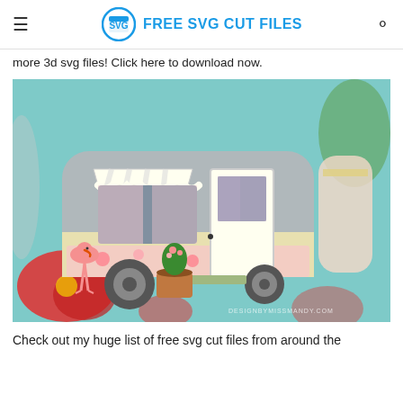FREE SVG CUT FILES
more 3d svg files! Click here to download now.
[Figure (photo): A decorative 3D paper camper/caravan SVG model with flamingo, cactus plant in pot, floral patterns, placed on a floral tablecloth. Watermark reads designbymissmandy.com]
Check out my huge list of free svg cut files from around the